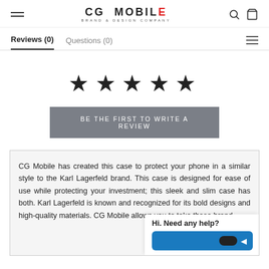CG MOBILE — BRAND & DESIGN COMPANY
Reviews (0)   Questions (0)
[Figure (other): Five black star rating icons displayed in a row]
BE THE FIRST TO WRITE A REVIEW
CG Mobile has created this case to protect your phone in a similar style to the Karl Lagerfeld brand. This case is designed for ease of use while protecting your investment; this sleek and slim case has both. Karl Lagerfeld is known and recognized for its bold designs and high-quality materials. CG Mobile allows you to take those brand